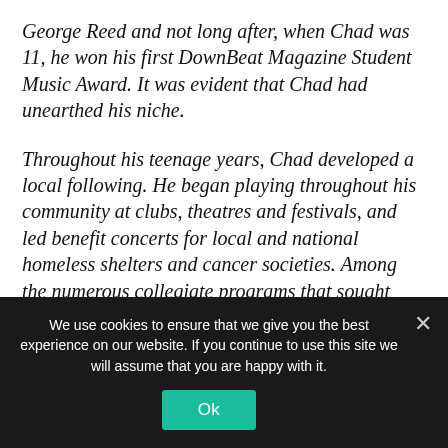George Reed and not long after, when Chad was 11, he won his first DownBeat Magazine Student Music Award. It was evident that Chad had unearthed his niche.
Throughout his teenage years, Chad developed a local following. He began playing throughout his community at clubs, theatres and festivals, and led benefit concerts for local and national homeless shelters and cancer societies. Among the numerous collegiate programs that sought Chad's scholarship, he continued his education in the arts at the Brubeck Fellowship Program, a prestigious program started by jazz legend Dave Brubeck, in
We use cookies to ensure that we give you the best experience on our website. If you continue to use this site we will assume that you are happy with it.